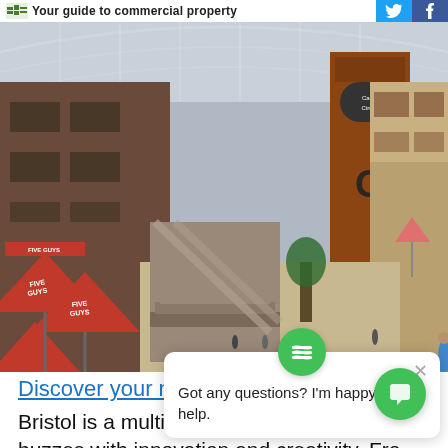Your guide to commercial property
[Figure (photo): Interior panoramic view of Cabot Circus shopping centre in Bristol, showing glass roof, multi-level retail floors, escalators, and Five Guys restaurant umbrellas in the foreground.]
Discover your next re...
Got any questions? I'm happy to help.
Bristol is a multicultural maritime city that buzzes with innovation and creativity. Fro... Brunel's landmark Clifton Suspension Bridge to